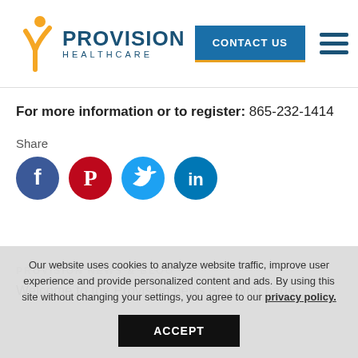[Figure (logo): Provision Healthcare logo with orange figure icon and blue text]
For more information or to register: 865-232-1414
Share
[Figure (infographic): Social media share icons: Facebook (blue), Pinterest (red), Twitter (light blue), LinkedIn (teal)]
PROVISION NEWS & BLOG
Welcome to the Provision news and blog page.
Our website uses cookies to analyze website traffic, improve user experience and provide personalized content and ads. By using this site without changing your settings, you agree to our privacy policy.